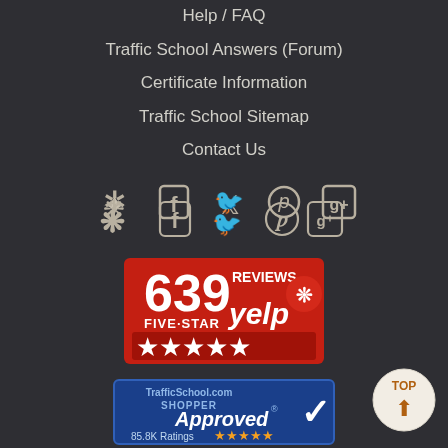Help / FAQ
Traffic School Answers (Forum)
Certificate Information
Traffic School Sitemap
Contact Us
[Figure (infographic): Social media icons row: Yelp, Facebook, Twitter, Pinterest, Google+]
[Figure (infographic): 639 Five-Star Yelp reviews badge with 5 red stars]
[Figure (infographic): TrafficSchool.com Shopper Approved badge with 85.8K Ratings and 5 orange stars]
[Figure (infographic): TOP button with upward arrows icon in bottom right corner]